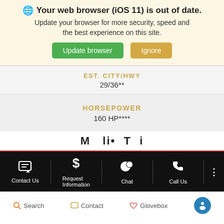[Figure (screenshot): Browser out-of-date warning banner with globe icon, bold title, descriptive text, and two buttons: 'Update browser' (green) and 'Ignore' (tan/gold)]
EST. CITY/HWY
29/36**
HORSEPOWER
160 HP****
M... T...
Contact Us | Request Information | Chat | Call Us | ...
Search | Contact | Glovebox | Accessibility